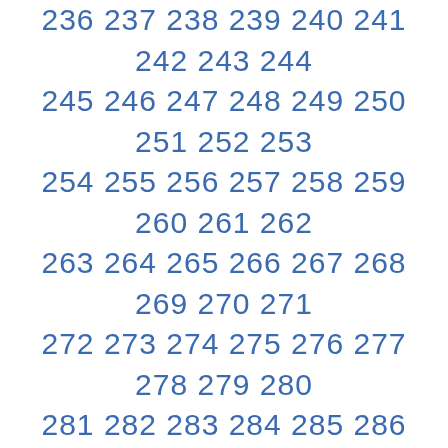236 237 238 239 240 241 242 243 244 245 246 247 248 249 250 251 252 253 254 255 256 257 258 259 260 261 262 263 264 265 266 267 268 269 270 271 272 273 274 275 276 277 278 279 280 281 282 283 284 285 286 287 288 289 290 291 292 293 294 295 296 297 298 299 300 ...
[Figure (other): Social media buttons: YouTube button (red), Facebook Like 282K button (blue), Twitter Follow button (light blue)]